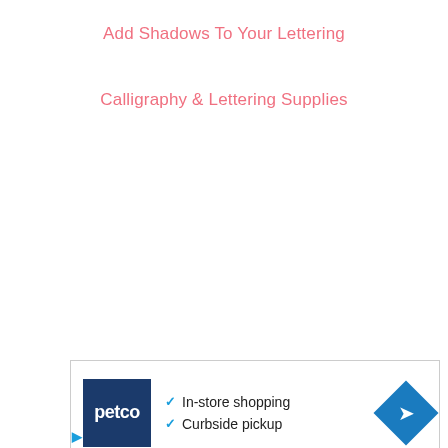Add Shadows To Your Lettering
Calligraphy & Lettering Supplies
[Figure (other): Petco advertisement banner with logo, In-store shopping and Curbside pickup checkmarks, navigation arrow diamond icon]
In-store shopping
Curbside pickup